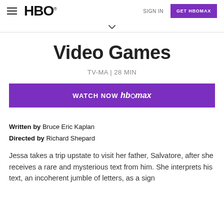HBO — SIGN IN — GET HBOMAX
Video Games
TV-MA | 28 MIN
WATCH NOW HBOMAX
Written by Bruce Eric Kaplan
Directed by Richard Shepard
Jessa takes a trip upstate to visit her father, Salvatore, after she receives a rare and mysterious text from him. She interprets his text, an incoherent jumble of letters, as a sign